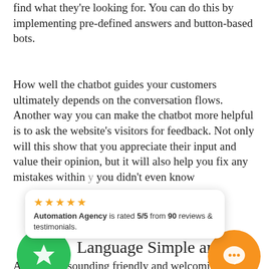find what they're looking for. You can do this by implementing pre-defined answers and button-based bots.
How well the chatbot guides your customers ultimately depends on the conversation flows. Another way you can make the chatbot more helpful is to ask the website's visitors for feedback. Not only will this show that you appreciate their input and value their opinion, but it will also help you fix any mistakes within [the chatbot] you didn't even know [about].
[Figure (screenshot): Review badge: Automation Agency is rated 5/5 from 90 reviews & testimonials, with 5 gold stars.]
[Figure (illustration): Green circle icon with a star, and orange circle icon with a chat bubble.]
Language Simple and Cas[ual)
Aside from sounding friendly and welcoming